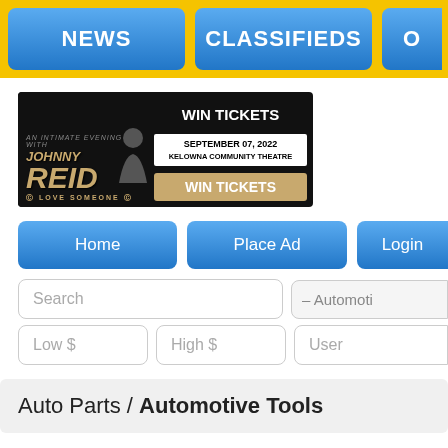[Figure (screenshot): Navigation bar with NEWS, CLASSIFIEDS, and partial third button on yellow background]
[Figure (illustration): Johnny Reid Win Tickets advertisement banner for September 07, 2022 at Kelowna Community Theatre]
[Figure (screenshot): Action buttons: Home, Place Ad, Login (partially visible)]
[Figure (screenshot): Search input field and Automotive category dropdown]
[Figure (screenshot): Low $ and High $ price inputs and User input field]
Auto Parts / Automotive Tools
Filter by City